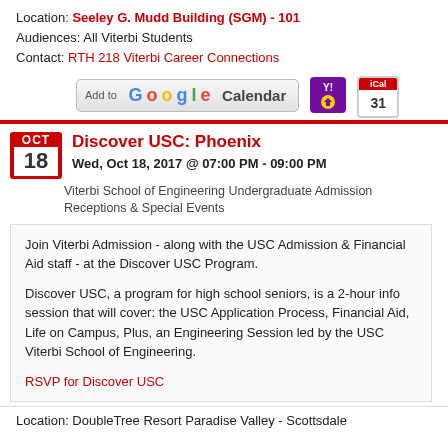Location: Seeley G. Mudd Building (SGM) - 101
Audiences: All Viterbi Students
Contact: RTH 218 Viterbi Career Connections
[Figure (screenshot): Add to Google Calendar button and calendar export icons (Yahoo, iCal)]
Discover USC: Phoenix
Wed, Oct 18, 2017 @ 07:00 PM - 09:00 PM
Viterbi School of Engineering Undergraduate Admission Receptions & Special Events
Join Viterbi Admission - along with the USC Admission & Financial Aid staff - at the Discover USC Program.

Discover USC, a program for high school seniors, is a 2-hour info session that will cover: the USC Application Process, Financial Aid, Life on Campus, Plus, an Engineering Session led by the USC Viterbi School of Engineering.

RSVP for Discover USC
Location: DoubleTree Resort Paradise Valley - Scottsdale